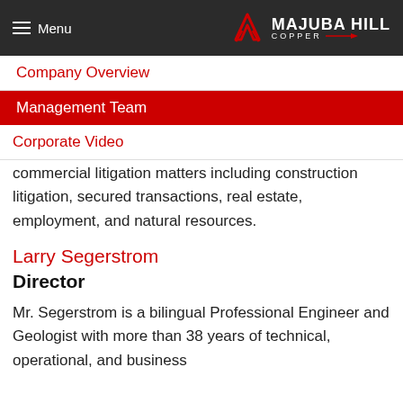Menu | MAJUBA HILL COPPER
Company Overview
Management Team
Corporate Video
commercial litigation matters including construction litigation, secured transactions, real estate, employment, and natural resources.
Larry Segerstrom
Director
Mr. Segerstrom is a bilingual Professional Engineer and Geologist with more than 38 years of technical, operational, and business